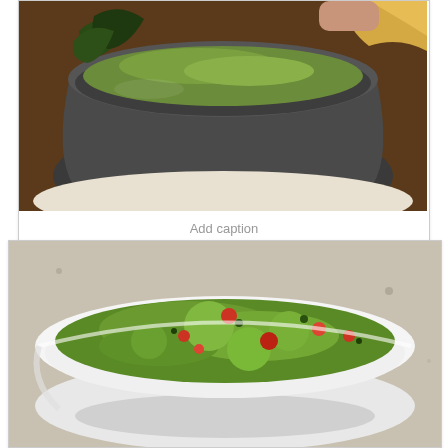[Figure (photo): Close-up photo of green guacamole in a gray stone molcajete bowl with tortilla chips visible at the top]
Add caption
[Figure (photo): Photo of chunky green guacamole with red tomato pieces in a white ceramic bowl, on a granite countertop]